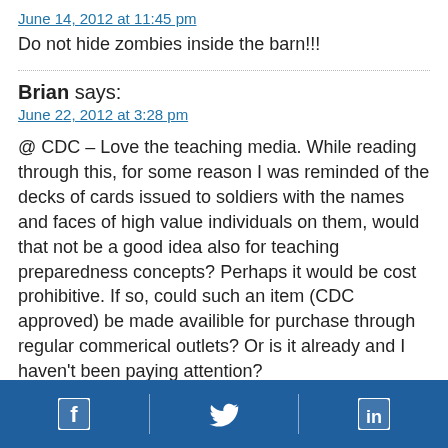June 14, 2012 at 11:45 pm
Do not hide zombies inside the barn!!!
Brian says:
June 22, 2012 at 3:28 pm
@ CDC – Love the teaching media. While reading through this, for some reason I was reminded of the decks of cards issued to soldiers with the names and faces of high value individuals on them, would that not be a good idea also for teaching preparedness concepts? Perhaps it would be cost prohibitive. If so, could such an item (CDC approved) be made availible for purchase through regular commerical outlets? Or is it already and I haven't been paying attention?
Facebook | Twitter | LinkedIn